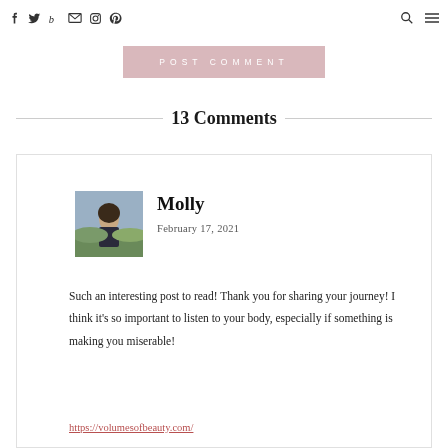Social icons: Facebook, Twitter, Bloglovin, Email, Instagram, Pinterest | Search, Menu
POST COMMENT
13 Comments
[Figure (photo): Profile photo of Molly, a woman standing outdoors in a field with hills in the background, wearing a dark jacket]
Molly
February 17, 2021
Such an interesting post to read! Thank you for sharing your journey! I think it's so important to listen to your body, especially if something is making you miserable!
https://volumesofbeauty.com/